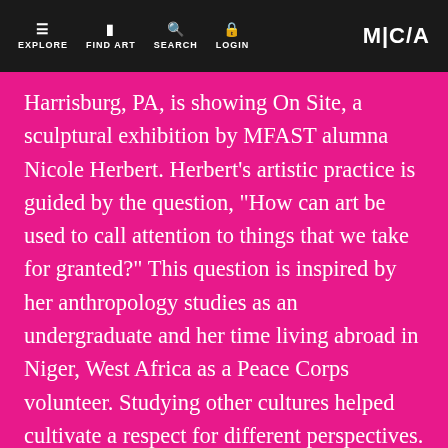EXPLORE | FIND ART | SEARCH | LOGIN | MICA
Harrisburg, PA, is showing On Site, a sculptural exhibition by MFAST alumna Nicole Herbert. Herbert's artistic practice is guided by the question, "How can art be used to call attention to things that we take for granted?" This question is inspired by her anthropology studies as an undergraduate and her time living abroad in Niger, West Africa as a Peace Corps volunteer. Studying other cultures helped cultivate a respect for different perspectives. Living in a foreign country for an extended period of time challenged what